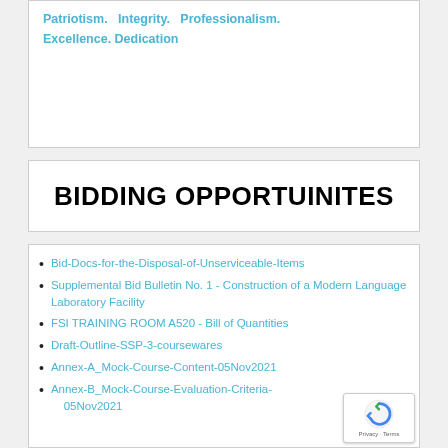Patriotism.  Integrity.  Professionalism. Excellence. Dedication
BIDDING OPPORTUINITES
Bid-Docs-for-the-Disposal-of-Unserviceable-Items
Supplemental Bid Bulletin No. 1 - Construction of a Modern Language Laboratory Facility
FSI TRAINING ROOM A520 - Bill of Quantities
Draft-Outline-SSP-3-coursewares
Annex-A_Mock-Course-Content-05Nov2021
Annex-B_Mock-Course-Evaluation-Criteria-05Nov2021